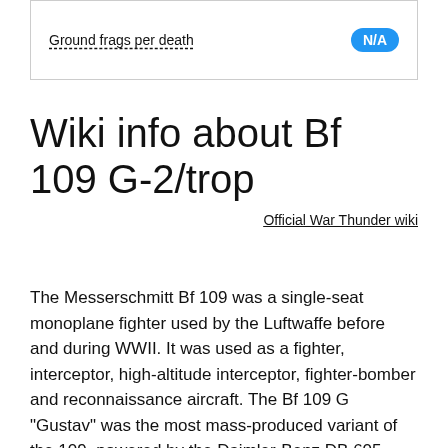| Ground frags per death | N/A |
| --- | --- |
Wiki info about Bf 109 G-2/trop
Official War Thunder wiki
The Messerschmitt Bf 109 was a single-seat monoplane fighter used by the Luftwaffe before and during WWII. It was used as a fighter, interceptor, high-altitude interceptor, fighter-bomber and reconnaissance aircraft. The Bf 109 G "Gustav" was the most mass-produced variant of the 109, powered by the Daimler-Benz DB 605. The 605 was basically a DB 601 with the cylinder block redesigned to increase displacement from 33.9, to 35.7 liters - which resulted in 175 extra HP with no significant change in size. The Gustav also contained improvements to the standard of